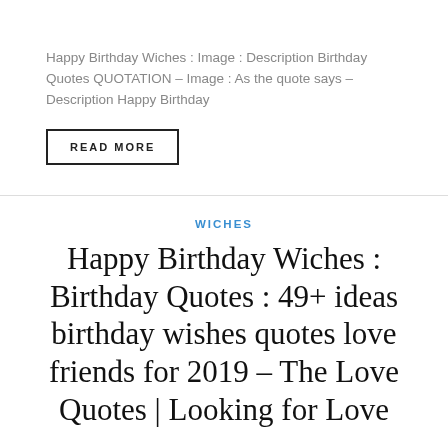Happy Birthday Wiches : Image : Description Birthday Quotes QUOTATION – Image : As the quote says – Description Happy Birthday
READ MORE
WICHES
Happy Birthday Wiches : Birthday Quotes : 49+ ideas birthday wishes quotes love friends for 2019 – The Love Quotes | Looking for Love